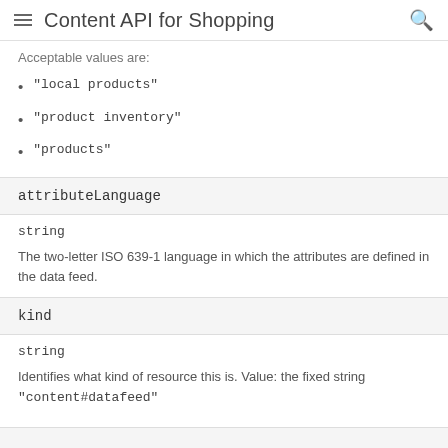Content API for Shopping
Acceptable values are:
"local products"
"product inventory"
"products"
attributeLanguage
string
The two-letter ISO 639-1 language in which the attributes are defined in the data feed.
kind
string
Identifies what kind of resource this is. Value: the fixed string "content#datafeed"
fileN...